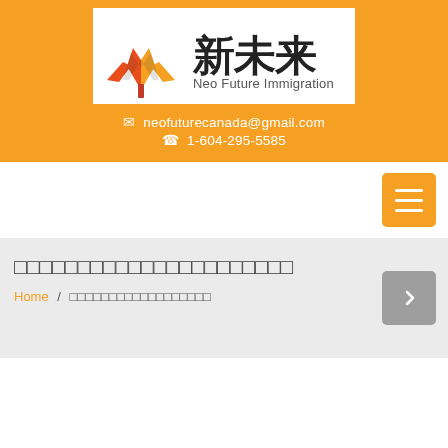[Figure (logo): Neo Future Immigration logo with maple leaf icon and Chinese characters 新未来]
✉ neofuturecanada@gmail.com
☎ 1-604-295-5585
[Figure (other): Orange hamburger menu button with three white lines]
（Chinese characters — page title in CJK squares）
Home / （Chinese characters breadcrumb）